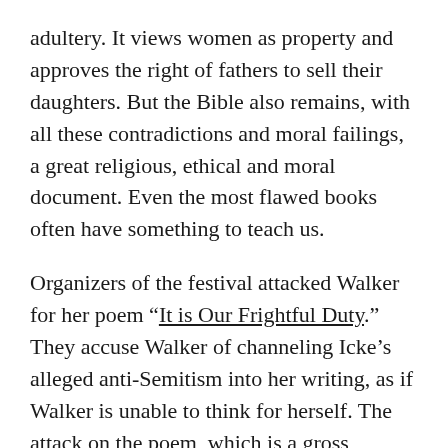adultery. It views women as property and approves the right of fathers to sell their daughters. But the Bible also remains, with all these contradictions and moral failings, a great religious, ethical and moral document. Even the most flawed books often have something to teach us.
Organizers of the festival attacked Walker for her poem “It is Our Frightful Duty.” They accuse Walker of channeling Icke’s alleged anti-Semitism into her writing, as if Walker is unable to think for herself. The attack on the poem, which is a gross misreading of its intent, exposes the lie that Walker’s position on Israel and Palestine had nothing to do with her being disinvited.
“Unfortunately, Ms. Walker has not only promoted